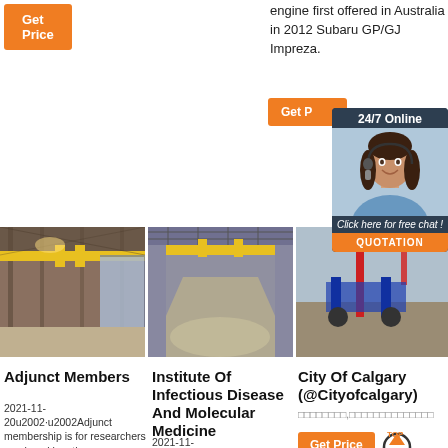[Figure (other): Orange 'Get Price' button at top left]
engine first offered in Australia in 2012 Subaru GP/GJ Impreza.
[Figure (other): Orange 'Get Price' button and 24/7 Online chat widget with woman wearing headset]
[Figure (photo): Industrial warehouse with overhead crane, yellow bridge, steel structure]
[Figure (photo): Industrial warehouse interior with yellow overhead crane, large empty floor]
[Figure (photo): Outdoor crane on construction site]
Adjunct Members
2021-11-20u2002·u2002Adjunct membership is for researchers employed by other
Institute Of Infectious Disease And Molecular Medicine
2021-11-
City Of Calgary (@Cityofcalgary)
□□□□□□□□,□□□□□□□□□□□□□□
[Figure (other): Orange 'Get Price' button with TOP arrow overlay graphic]